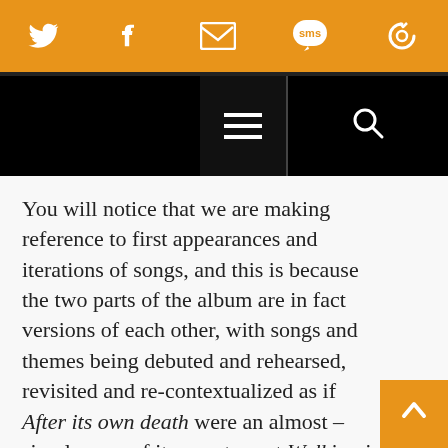[Social sharing bar: Twitter, Facebook, Email, SMS, Feed icons]
[Navigation bar with hamburger menu and search icon]
You will notice that we are making reference to first appearances and iterations of songs, and this is because the two parts of the album are in fact versions of each other, with songs and themes being debuted and rehearsed, revisited and re-contextualized as if After its own death were an almost –simulacrum of its counterpart Walking in a spiral toward the house. It is as if this album, you start to realize, is being staged in a kind of bardo Buddhist condition that is a form of limbo between